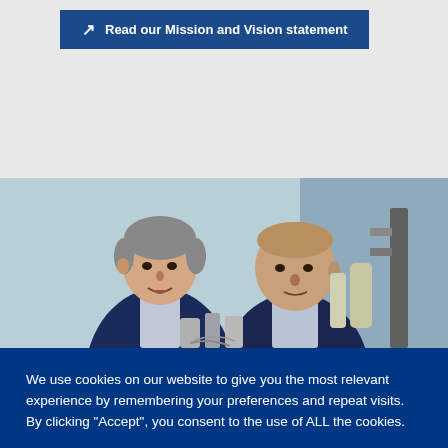Read our Mission and Vision statement
[Figure (photo): Two men in business attire looking downward at engineering equipment in a light blue industrial setting]
We use cookies on our website to give you the most relevant experience by remembering your preferences and repeat visits. By clicking “Accept”, you consent to the use of ALL the cookies.
Cookie settings
ACCEPT